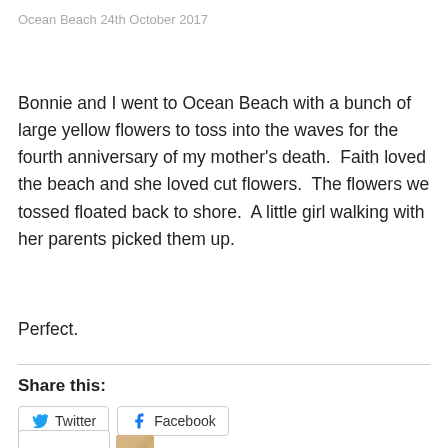Ocean Beach 24th October 2017
Bonnie and I went to Ocean Beach with a bunch of large yellow flowers to toss into the waves for the fourth anniversary of my mother's death.  Faith loved the beach and she loved cut flowers.  The flowers we tossed floated back to shore.  A little girl walking with her parents picked them up.
Perfect.
Share this:
Twitter  Facebook